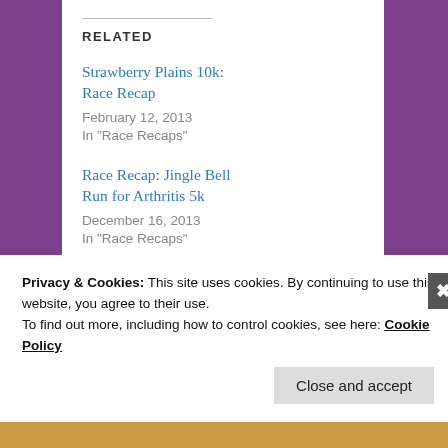RELATED
Strawberry Plains 10k: Race Recap
February 12, 2013
In "Race Recaps"
Race Recap: Jingle Bell Run for Arthritis 5k
December 16, 2013
In "Race Recaps"
Race Recap: Be a Factor 5k
May 6, 2013
In "Race Recaps"
Privacy & Cookies: This site uses cookies. By continuing to use this website, you agree to their use.
To find out more, including how to control cookies, see here: Cookie Policy
Close and accept